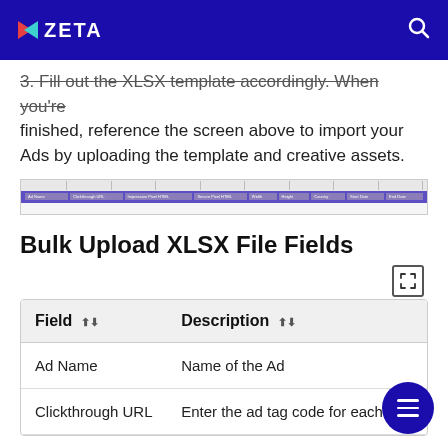ZETA
3. Fill out the XLSX template accordingly. When you're finished, reference the screen above to import your Ads by uploading the template and creative assets.
[Figure (screenshot): Spreadsheet/Excel table header showing columns: Ad Name, Clickthrough URL, Impression Pixel HTML, Secure Pixel HTML, Width, Height, Country, Start Date, End Date]
Bulk Upload XLSX File Fields
| Field | Description |
| --- | --- |
| Ad Name | Name of the Ad |
| Clickthrough URL | Enter the ad tag code for each ad. |